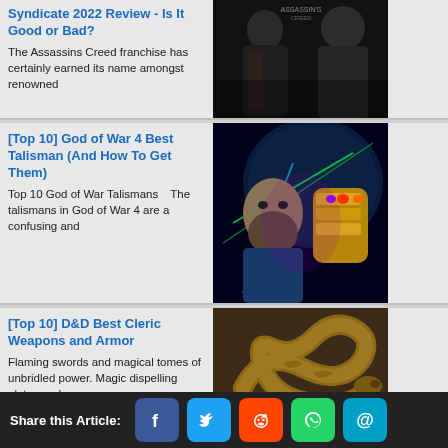[Figure (screenshot): Article listing page with 4 article cards, each with a title, description excerpt, and thumbnail image. Cards: 1) Assassins Creed Syndicate 2022 Review, 2) Top 10 God of War 4 Best Talisman, 3) Top 10 D&D Best Cleric Weapons and Armor, 4) 30 Best Post-Apocalyptic Movies Worth Watching. Bottom: Share this Article bar with Facebook, Twitter, Reddit, WhatsApp, Email buttons.]